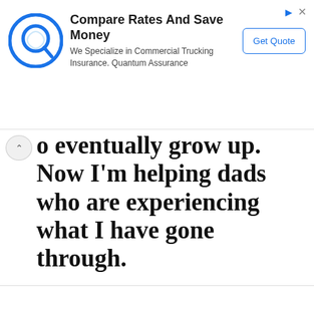[Figure (screenshot): Advertisement banner for Quantum Assurance showing a Q logo, headline 'Compare Rates And Save Money', subtext 'We Specialize in Commercial Trucking Insurance. Quantum Assurance', and a 'Get Quote' button]
o eventually grow up. Now I'm helping dads who are experiencing what I have gone through.